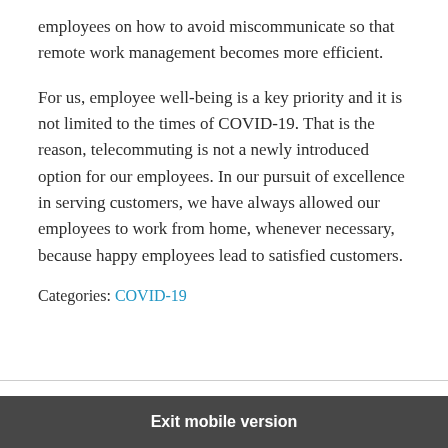employees on how to avoid miscommunicate so that remote work management becomes more efficient.
For us, employee well-being is a key priority and it is not limited to the times of COVID-19. That is the reason, telecommuting is not a newly introduced option for our employees. In our pursuit of excellence in serving customers, we have always allowed our employees to work from home, whenever necessary, because happy employees lead to satisfied customers.
Categories: COVID-19
Gemini Consulting & Services
Back to top
Exit mobile version